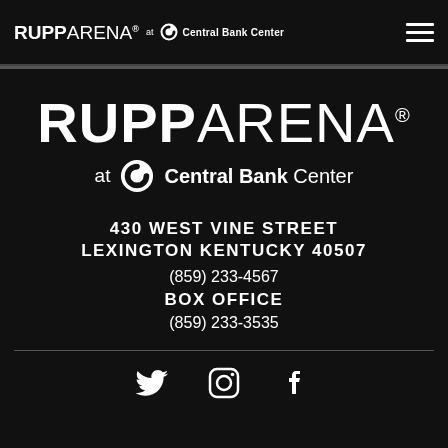RUPP ARENA at Central Bank Center
[Figure (logo): Rupp Arena at Central Bank Center large logo]
430 WEST VINE STREET
LEXINGTON KENTUCKY 40507
(859) 233-4567
BOX OFFICE
(859) 233-3535
[Figure (illustration): Social media icons: Twitter, Instagram, Facebook]